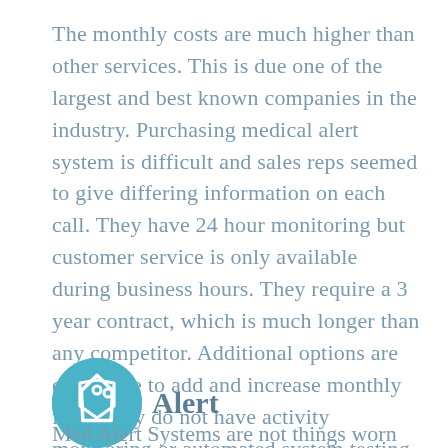The monthly costs are much higher than other services. This is due one of the largest and best known companies in the industry. Purchasing medical alert system is difficult and sales reps seemed to give differing information on each call. They have 24 hour monitoring but customer service is only available during business hours. They require a 3 year contract, which is much longer than any competitor. Additional options are expensive to add and increase monthly fees. They do not have activity monitoring or automated system testing. While they have many features, there is no fall monitor option available.
[Figure (illustration): Teal circular icon with a price tag outline symbol inside]
Alert
Med Alert Systems are not things worn only by